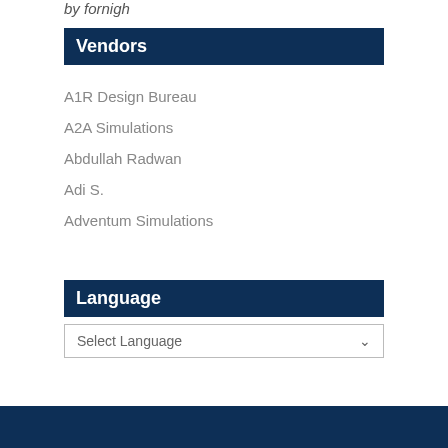by fornigh
Vendors
A1R Design Bureau
A2A Simulations
Abdullah Radwan
Adi S.
Adventum Simulations
Language
Select Language